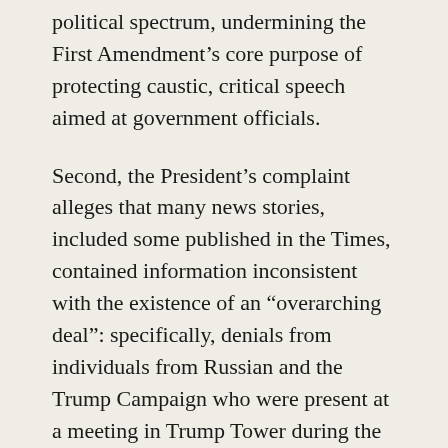political spectrum, undermining the First Amendment's core purpose of protecting caustic, critical speech aimed at government officials.
Second, the President's complaint alleges that many news stories, included some published in the Times, contained information inconsistent with the existence of an “overarching deal”: specifically, denials from individuals from Russian and the Trump Campaign who were present at a meeting in Trump Tower during the summer of 2016 that the meeting was held to try to establish a “deal.”[13] So what? No